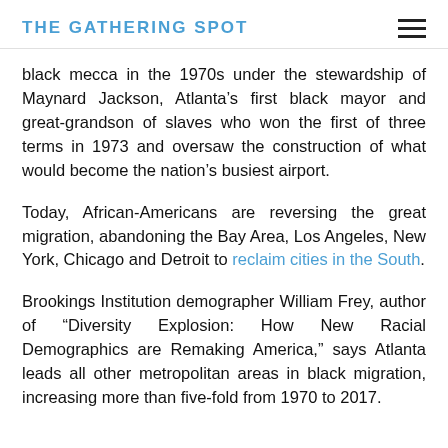THE GATHERING SPOT
black mecca in the 1970s under the stewardship of Maynard Jackson, Atlanta’s first black mayor and great-grandson of slaves who won the first of three terms in 1973 and oversaw the construction of what would become the nation’s busiest airport.
Today, African-Americans are reversing the great migration, abandoning the Bay Area, Los Angeles, New York, Chicago and Detroit to reclaim cities in the South.
Brookings Institution demographer William Frey, author of “Diversity Explosion: How New Racial Demographics are Remaking America,” says Atlanta leads all other metropolitan areas in black migration, increasing more than five-fold from 1970 to 2017.